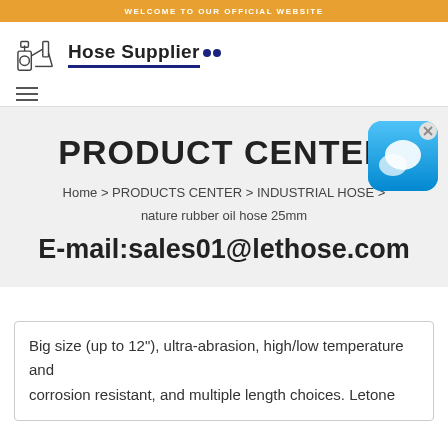WELCOME TO OUR OFFICIAL WEBSITE
[Figure (logo): Hose Supplier logo with equipment icon and blue underline]
[Figure (screenshot): Hamburger menu navigation icon (three horizontal lines)]
PRODUCT CENTER
Home > PRODUCTS CENTER > INDUSTRIAL HOSE > nature rubber oil hose 25mm
E-mail:sales01@lethose.com
[Figure (screenshot): Blue chat widget button with speech bubble icon and X close button]
Big size (up to 12"), ultra-abrasion, high/low temperature and corrosion resistant, and multiple length choices. Letone